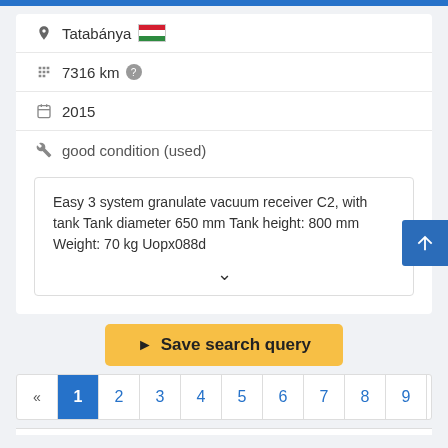Tatabánya [HU flag] 7316 km [?]
2015
good condition (used)
Easy 3 system granulate vacuum receiver C2, with tank Tank diameter 650 mm Tank height: 800 mm Weight: 70 kg Uopx088d
Save search query
« 1 2 3 4 5 6 7 8 9 10 »